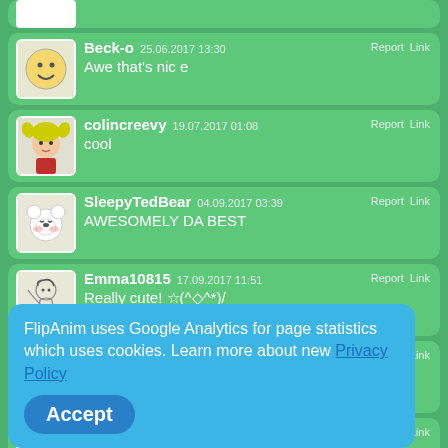[Figure (screenshot): Social media comment section from FlipAnim website showing user comments with avatars, usernames, timestamps, and a cookie consent overlay.]
Beck-o 25.06.2017 13:30
Awe that's nic e
colincreevy 19.07.2017 01:08
cool
SleepyTedBear 04.09.2017 03:39
AWESOMELY DA BEST
Emma10815 17.09.2017 11:51
Really cute! ☆(^◇^*)/
NyanCatFanGirl 23.10.2017 09:42
wow cool
FlipAnim uses Google Analytics for page statistics which uses cookies. Learn more about new Privacy Policy
Accept